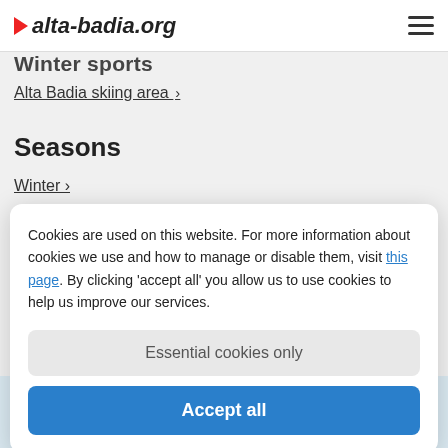alta-badia.org
Winter sports
Alta Badia skiing area >
Seasons
Winter >
Spring >
Cookies are used on this website. For more information about cookies we use and how to manage or disable them, visit this page. By clicking 'accept all' you allow us to use cookies to help us improve our services.
Essential cookies only
Accept all
★ ★ ★ ★ S
Kolfuschgerhof Mountain Resort
Excellent location with a fantastic view